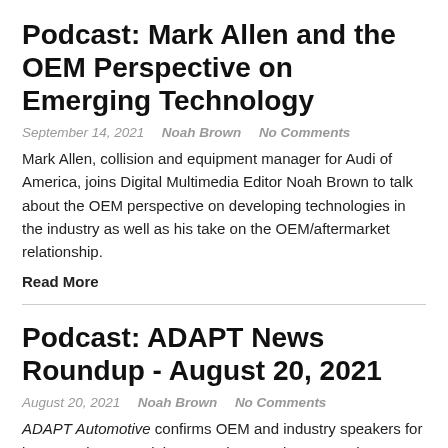Podcast: Mark Allen and the OEM Perspective on Emerging Technology
September 14, 2021   Noah Brown   No Comments
Mark Allen, collision and equipment manager for Audi of America, joins Digital Multimedia Editor Noah Brown to talk about the OEM perspective on developing technologies in the industry as well as his take on the OEM/aftermarket relationship.
Read More
Podcast: ADAPT News Roundup - August 20, 2021
August 20, 2021   Noah Brown   No Comments
ADAPT Automotive confirms OEM and industry speakers for its upcoming summit in December, Ford requests the U.S. Trademark Office rescind two of General Motor's